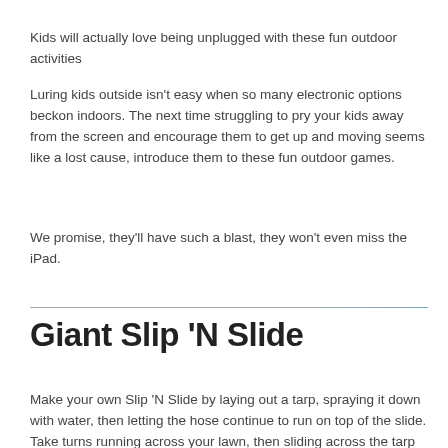Kids will actually love being unplugged with these fun outdoor activities
Luring kids outside isn't easy when so many electronic options beckon indoors. The next time struggling to pry your kids away from the screen and encourage them to get up and moving seems like a lost cause, introduce them to these fun outdoor games.
We promise, they'll have such a blast, they won't even miss the iPad.
Giant Slip 'N Slide
Make your own Slip 'N Slide by laying out a tarp, spraying it down with water, then letting the hose continue to run on top of the slide. Take turns running across your lawn, then sliding across the tarp for a slippery, exciting game.